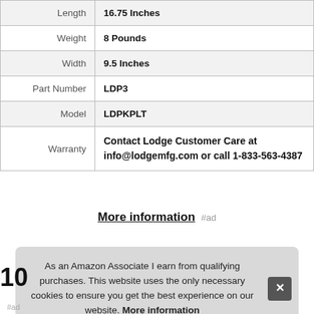| Attribute | Value |
| --- | --- |
| Length | 16.75 Inches |
| Weight | 8 Pounds |
| Width | 9.5 Inches |
| Part Number | LDP3 |
| Model | LDPKPLT |
| Warranty | Contact Lodge Customer Care at info@lodgemfg.com or call 1-833-563-4387 |
More information #ad
As an Amazon Associate I earn from qualifying purchases. This website uses the only necessary cookies to ensure you get the best experience on our website. More information
#ad